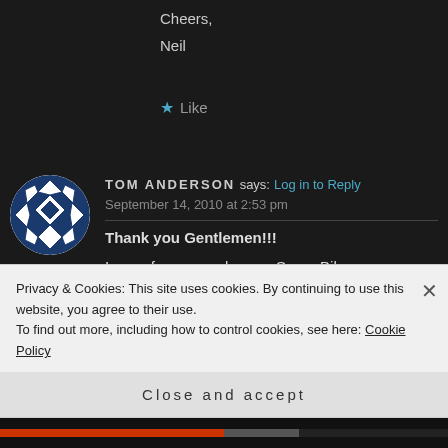Cheers,
Neil
Like
TOM ANDERSON says: Log in to Reply
September 14, 2010 at 2:53 pm
Thank you Gentlemen!!!
I am a former road racer- Super Bike,
Privacy & Cookies: This site uses cookies. By continuing to use this website, you agree to their use.
To find out more, including how to control cookies, see here: Cookie Policy
Close and accept